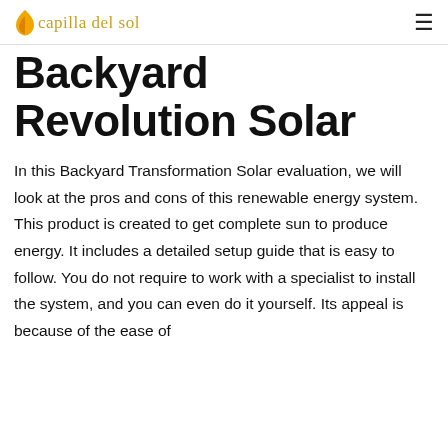capilla del sol
Backyard Revolution Solar
In this Backyard Transformation Solar evaluation, we will look at the pros and cons of this renewable energy system. This product is created to get complete sun to produce energy. It includes a detailed setup guide that is easy to follow. You do not require to work with a specialist to install the system, and you can even do it yourself. Its appeal is because of the ease of